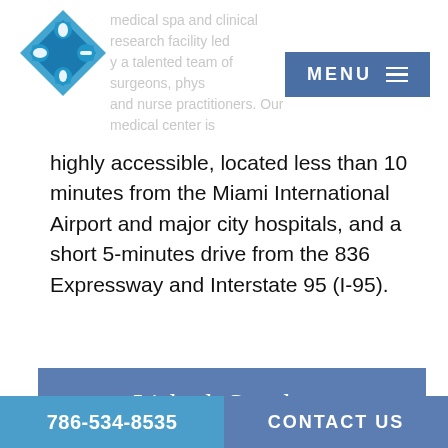medical spa and clinical research facility led by a talented team of surgeons, physicians, and nurse practitioners. Our medical center is
highly accessible, located less than 10 minutes from the Miami International Airport and major city hospitals, and a short 5-minutes drive from the 836 Expressway and Interstate 95 (I-95).
Lisbeth Sanchez, CRC, RPT, President
Lisbeth Sanchez is a Registered Pharmacy Technician with more than 5 years of experience in the research industry. She's CPR and AED certified and holds...
786-534-8535   CONTACT US